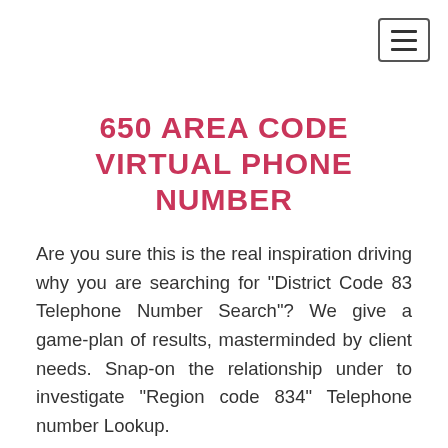[Figure (other): Hamburger menu button icon (three horizontal lines) inside a square border, top-right corner]
650 AREA CODE VIRTUAL PHONE NUMBER
Are you sure this is the real inspiration driving why you are searching for "District Code 83 Telephone Number Search"? We give a game-plan of results, masterminded by client needs. Snap-on the relationship under to investigate "Region code 834" Telephone number Lookup.